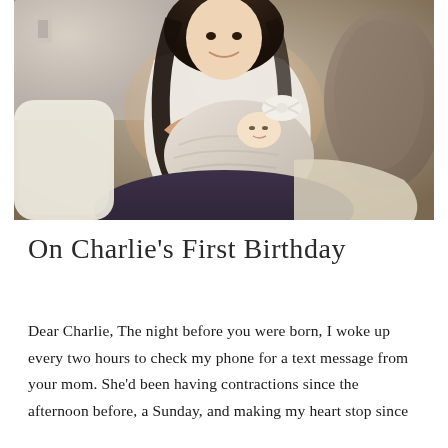[Figure (photo): A smiling young woman with long dark hair holding a newborn baby wrapped in a white swaddle blanket with a white bow on the baby's head. She is seated, wearing a white top, with a patterned armchair visible behind her.]
On Charlie's First Birthday
Dear Charlie, The night before you were born, I woke up every two hours to check my phone for a text message from your mom. She'd been having contractions since the afternoon before, a Sunday, and making my heart stop since